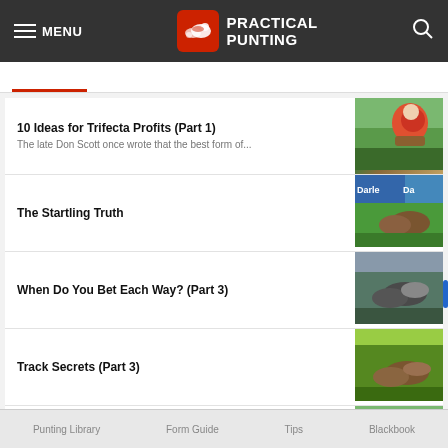MENU | PRACTICAL PUNTING
10 Ideas for Trifecta Profits (Part 1)
The late Don Scott once wrote that the best form of...
The Startling Truth
When Do You Bet Each Way? (Part 3)
Track Secrets (Part 3)
Big bets and market movers from Saturday's early races
Par for the Course
Punting Library    Form Guide    Tips    Blackbook